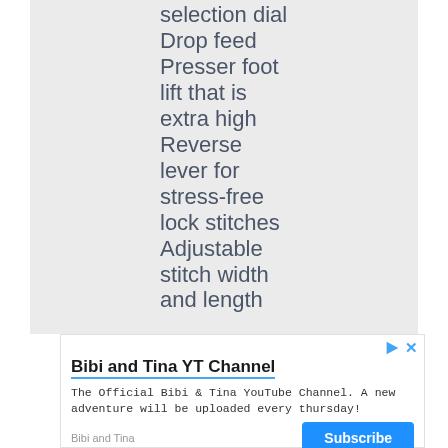selection dial
Drop feed
Presser foot lift that is extra high
Reverse lever for stress-free lock stitches
Adjustable stitch width and length
[Figure (other): Advertisement banner for Bibi and Tina YT Channel with Subscribe button]